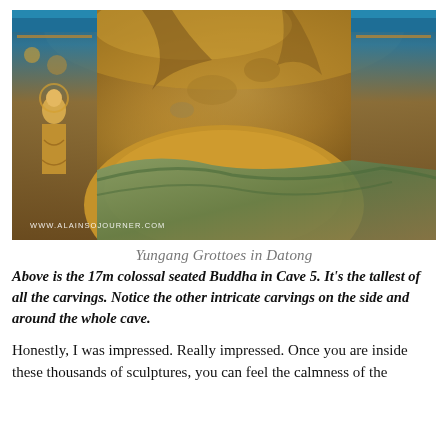[Figure (photo): Close-up photograph of the 17m colossal seated Buddha in Cave 5 at Yungang Grottoes in Datong, showing intricate gold and colored carvings of Buddhist figures on the cave walls and columns. Watermark reads WWW.ALAINSOJOURNER.COM]
Yungang Grottoes in Datong
Above is the 17m colossal seated Buddha in Cave 5. It's the tallest of all the carvings. Notice the other intricate carvings on the side and around the whole cave.
Honestly, I was impressed. Really impressed. Once you are inside these thousands of sculptures, you can feel the calmness of the